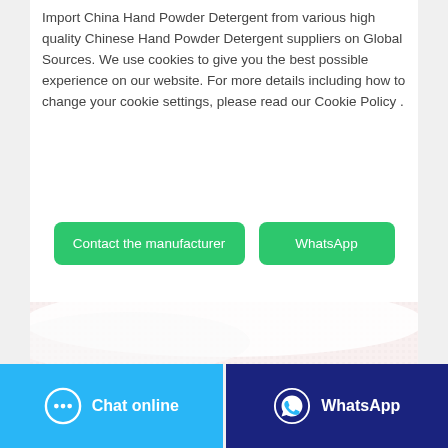Import China Hand Powder Detergent from various high quality Chinese Hand Powder Detergent suppliers on Global Sources. We use cookies to give you the best possible experience on our website. For more details including how to change your cookie settings, please read our Cookie Policy .
[Figure (other): Two green buttons side by side: 'Contact the manufacturer' and 'WhatsApp']
[Figure (photo): Close-up photo of a pink soap bar with text 'CLEACE' on a white towel background]
[Figure (other): Bottom navigation bar with two buttons: blue 'Chat online' button with chat icon on left, dark blue 'WhatsApp' button with WhatsApp icon on right]